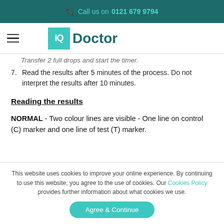Call us on 0121 679 9794
[Figure (logo): iQ Doctor logo with teal square containing 'iQ' and 'Doctor' text]
Transfer 2 full drops and start the timer.
7. Read the results after 5 minutes of the process. Do not interpret the results after 10 minutes.
Reading the results
NORMAL - Two colour lines are visible - One line on control (C) marker and one line of test (T) marker.
This website uses cookies to improve your online experience. By continuing to use this website, you agree to the use of cookies. Our Cookies Policy provides further information about what cookies we use.